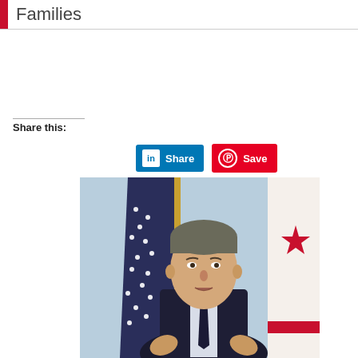Families
Share this:
[Figure (other): LinkedIn Share button and Pinterest Save button]
[Figure (photo): A man in a dark suit and tie speaking at a podium with an American flag and California state flag in the background]